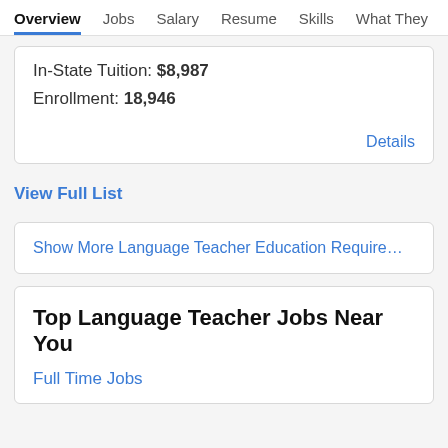Overview  Jobs  Salary  Resume  Skills  What They >
In-State Tuition: $8,987
Enrollment: 18,946
Details
View Full List
Show More Language Teacher Education Requirements
Top Language Teacher Jobs Near You
Full Time Jobs